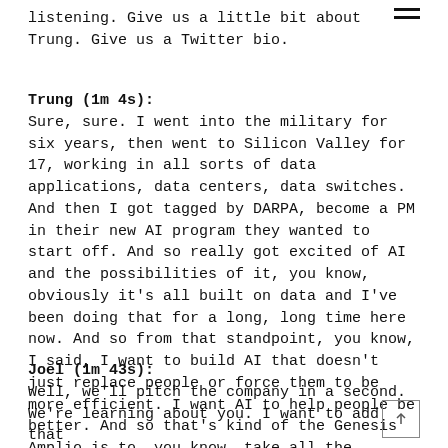listening. Give us a little bit about Trung. Give us a Twitter bio.
Trung (1m 4s):
Sure, sure. I went into the military for six years, then went to Silicon Valley for 17, working in all sorts of data applications, data centers, data switches. And then I got tagged by DARPA, become a PM in their new AI program they wanted to start off. And so really got excited of AI and the possibilities of it, you know, obviously it's all built on data and I've been doing that for a long, long time here now. And so from that standpoint, you know, I said, I want to build AI that doesn't just replace people or force them to be more efficient. I want AI to help people be better. And so that's kind of the Genesis Amplio is to, you know, take all the knowledge I have on technology.
Joel (1m 43s):
Well, we'll pitch the company in a second. We're learning about you. I want to add that